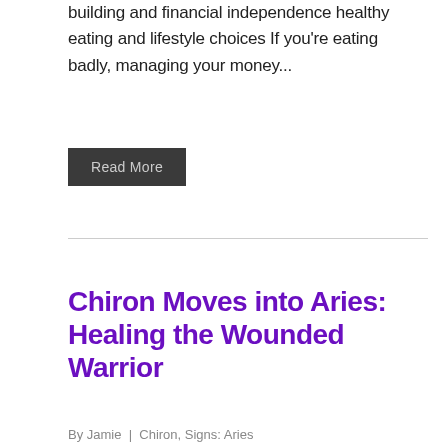building and financial independence healthy eating and lifestyle choices If you're eating badly, managing your money...
Read More
Chiron Moves into Aries: Healing the Wounded Warrior
By Jamie | Chiron, Signs: Aries